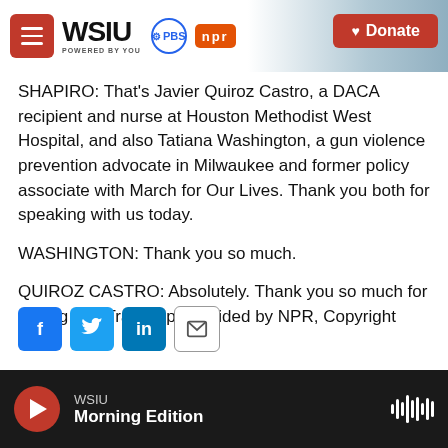WSIU POWERED BY YOU | PBS | npr | Donate
SHAPIRO: That's Javier Quiroz Castro, a DACA recipient and nurse at Houston Methodist West Hospital, and also Tatiana Washington, a gun violence prevention advocate in Milwaukee and former policy associate with March for Our Lives. Thank you both for speaking with us today.
WASHINGTON: Thank you so much.
QUIROZ CASTRO: Absolutely. Thank you so much for having me. Transcript provided by NPR, Copyright NPR.
[Figure (other): Social share buttons: Facebook, Twitter, LinkedIn, Email]
WSIU Morning Edition (audio player bar)